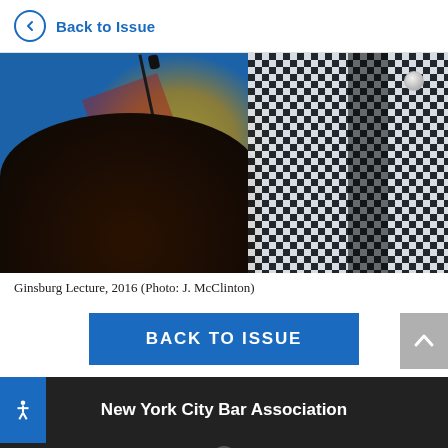Back to Issue
[Figure (photo): Close-up photo of a speaker at a podium with a microphone, wearing a black and white houndstooth patterned jacket, with a blue and gold banner/seal visible in the background. Ginsburg Lecture, 2016.]
Ginsburg Lecture, 2016 (Photo: J. McClinton)
BACK TO ISSUE
New York City Bar Association